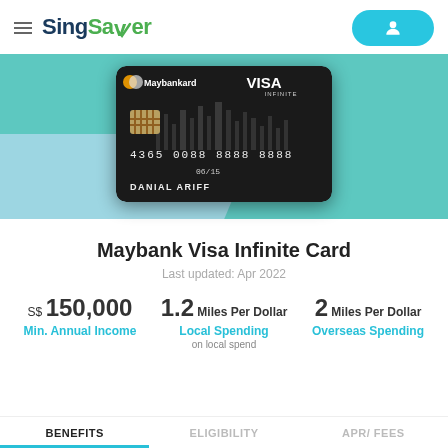[Figure (screenshot): SingSaver website header with hamburger menu, SingSaver logo, and blue user profile button]
[Figure (photo): Maybank Visa Infinite credit card – black card with Maybankard and VISA INFINITE branding, card number 4365 0088 8888 8888, expiry 06/15, cardholder DANIAL ARIFF]
Maybank Visa Infinite Card
Last updated: Apr 2022
S$ 150,000 Min. Annual Income
1.2 Miles Per Dollar Local Spending on local spend
2 Miles Per Dollar Overseas Spending
BENEFITS | ELIGIBILITY | APR/ FEES